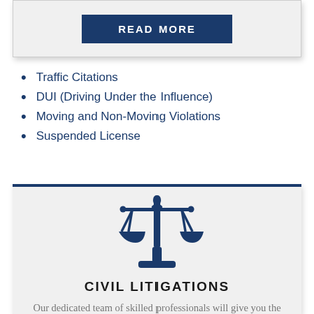[Figure (other): READ MORE button on a light grey card]
Traffic Citations
DUI (Driving Under the Influence)
Moving and Non-Moving Violations
Suspended License
[Figure (illustration): Blue scales of justice icon]
CIVIL LITIGATIONS
Our dedicated team of skilled professionals will give you the reassurance that your case is being handled efficiently. We'll help alleviate